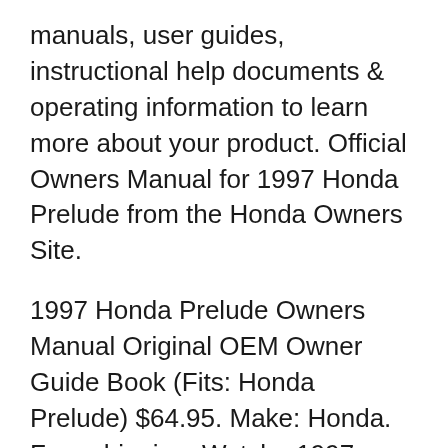manuals, user guides, instructional help documents & operating information to learn more about your product. Official Owners Manual for 1997 Honda Prelude from the Honda Owners Site.
1997 Honda Prelude Owners Manual Original OEM Owner Guide Book (Fits: Honda Prelude) $64.95. Make: Honda. Free shipping. Watch . 1997 1998 1999 Honda Prelude Shop Service Repair Manual Book OEM Guide (Fits: Honda Prelude) 5 out of 5 stars. 2 product ratings 2 product ratings - 1997 1998 1999 Honda Prelude Shop Service Repair Manual Book OEM Guide. $104.97. Top Rated Plus. Was: Previous pT | 1997 Prelude Owners Manual. To